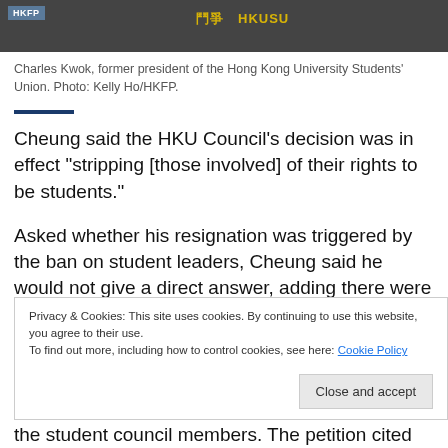[Figure (photo): Photo strip showing a person, partially visible, with protest-related imagery and text 'HKFP' and 'HKUSU' visible]
Charles Kwok, former president of the Hong Kong University Students' Union. Photo: Kelly Ho/HKFP.
Cheung said the HKU Council’s decision was in effect “stripping [those involved] of their rights to be students.”
Asked whether his resignation was triggered by the ban on student leaders, Cheung said he would not give a direct answer, adding there were “many
Privacy & Cookies: This site uses cookies. By continuing to use this website, you agree to their use.
To find out more, including how to control cookies, see here: Cookie Policy
the student council members. The petition cited